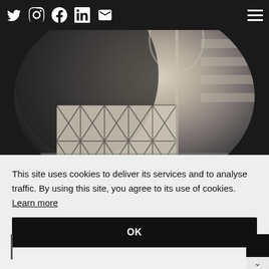Navigation bar with social icons (Twitter, Instagram, Facebook, LinkedIn, Email) and hamburger menu
[Figure (photo): Black and white photo inside a circular crop showing a person sitting at a table with a geometric patterned cushion and a wine glass, in what appears to be a restaurant or bar setting]
This site uses cookies to deliver its services and to analyse traffic. By using this site, you agree to its use of cookies. Learn more
OK